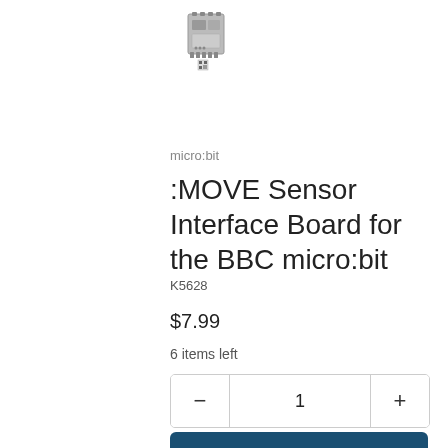[Figure (illustration): Small icon/image of a micro:bit sensor interface board with QR code and connector pins]
micro:bit
:MOVE Sensor Interface Board for the BBC micro:bit
K5628
$7.99
6 items left
− 1 +
ADD TO CART